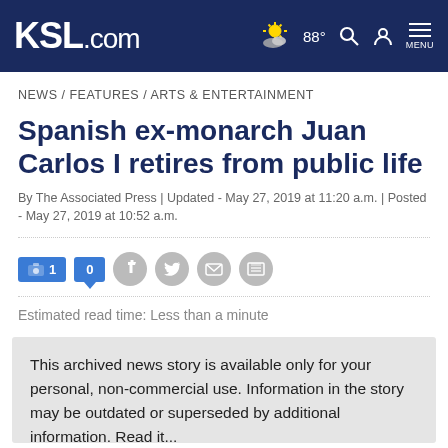KSL.com — 88° MENU
NEWS / FEATURES / ARTS & ENTERTAINMENT
Spanish ex-monarch Juan Carlos I retires from public life
By The Associated Press | Updated - May 27, 2019 at 11:20 a.m. | Posted - May 27, 2019 at 10:52 a.m.
[Figure (infographic): Social share bar with photo count badge (1), comment badge (0), Facebook, Twitter, email, and print icons]
Estimated read time: Less than a minute
This archived news story is available only for your personal, non-commercial use. Information in the story may be outdated or superseded by additional information. Read it...